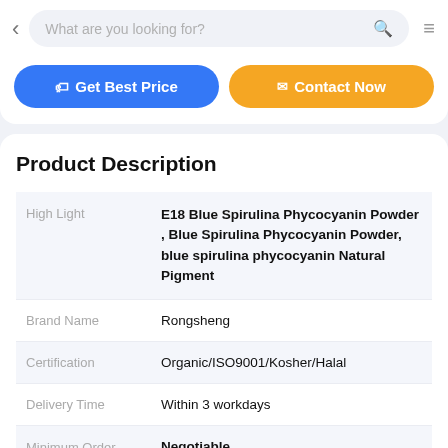< What are you looking for? [search icon] [menu icon]
[Figure (screenshot): Two buttons: 'Get Best Price' (blue) and 'Contact Now' (orange)]
Product Description
|  |  |
| --- | --- |
| High Light | E18 Blue Spirulina Phycocyanin Powder , Blue Spirulina Phycocyanin Powder, blue spirulina phycocyanin Natural Pigment |
| Brand Name | Rongsheng |
| Certification | Organic/ISO9001/Kosher/Halal |
| Delivery Time | Within 3 workdays |
| Minimum Order Quantity | Negotiable |